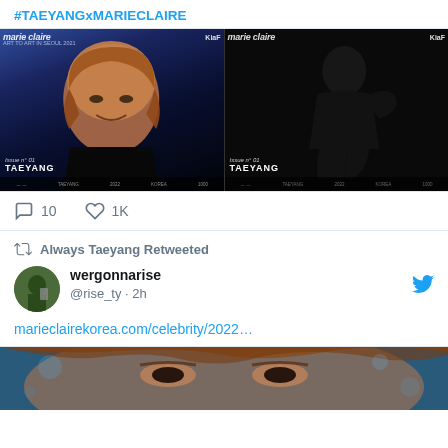#TAEYANGxMARIECLAIRE
[Figure (photo): Two Marie Claire magazine covers featuring TAEYANG side by side. Left cover shows Taeyang with light brown hair against blue background. Right cover shows a dark silhouette against black background. Both covers show 'marie claire' logo, KiaF branding, and 'TAEYANG' text at bottom.]
10 comments, 1K likes
Always Taeyang Retweeted
wergonnarise
@rise_ty · 2h
marieclairekorea.com/celebrity/2022…
[Figure (photo): Close-up photo of Taeyang's face with light brown hair against blue bokeh background]